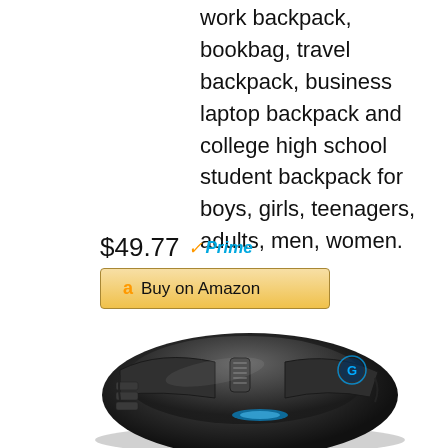work backpack, bookbag, travel backpack, business laptop backpack and college high school student backpack for boys, girls, teenagers, adults, men, women.
$49.77 Prime
Buy on Amazon
[Figure (photo): Logitech gaming mouse (likely G903 or similar), black with blue LED accent lights, viewed from above at an angle, showing scroll wheel, side buttons, and Logitech G logo in blue.]